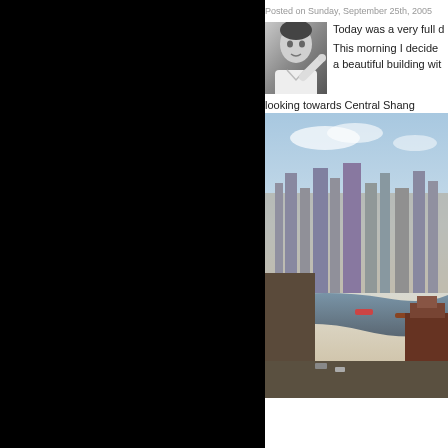Posted on Sunday, September 25th, 2005
Today was a very full d
[Figure (photo): Black and white portrait photo of a man pointing at the camera]
This morning I decided a beautiful building wit looking towards Central Shang